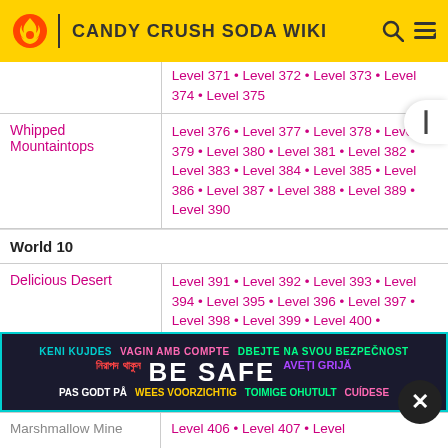CANDY CRUSH SODA WIKI
| Area | Levels |
| --- | --- |
|  | Level 371 • Level 372 • Level 373 • Level 374 • Level 375 |
| Whipped Mountaintops | Level 376 • Level 377 • Level 378 • Level 379 • Level 380 • Level 381 • Level 382 • Level 383 • Level 384 • Level 385 • Level 386 • Level 387 • Level 388 • Level 389 • Level 390 |
World 10
| Area | Levels |
| --- | --- |
| Delicious Desert | Level 391 • Level 392 • Level 393 • Level 394 • Level 395 • Level 396 • Level 397 • Level 398 • Level 399 • Level 400 • |
| Marshmallow Mine | Level 406 • Level 407 • Level |
[Figure (infographic): BE SAFE multilingual public safety advertisement banner with text in multiple languages: KENI KUJDES, VAGIN AMB COMPTE, DBEJTE NA SVOU BEZPECNOST, Bengali text, BE SAFE, AVETI GRIJA, PAS GODT PA, WEES VOORZICHTIG, TOIMIGE OHUTULT, CUIDESE]